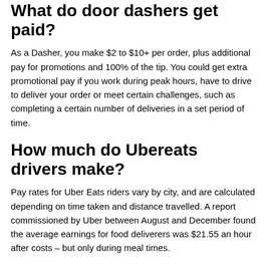What do door dashers get paid?
As a Dasher, you make $2 to $10+ per order, plus additional pay for promotions and 100% of the tip. You could get extra promotional pay if you work during peak hours, have to drive to deliver your order or meet certain challenges, such as completing a certain number of deliveries in a set period of time.
How much do Ubereats drivers make?
Pay rates for Uber Eats riders vary by city, and are calculated depending on time taken and distance travelled. A report commissioned by Uber between August and December found the average earnings for food deliverers was $21.55 an hour after costs – but only during meal times.